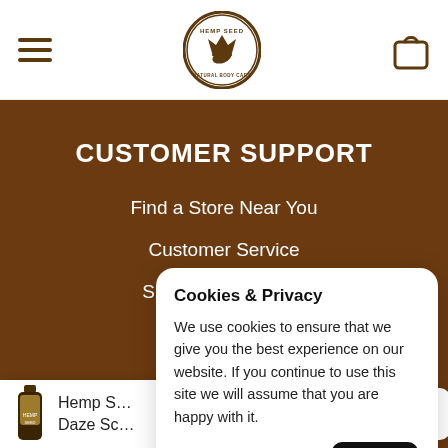[Figure (logo): Hemp Seed Natural Body Care circular logo in brown, centered in top navigation]
Navigation bar with hamburger menu, Hemp Seed Natural Body Care logo, and shopping bag icon
CUSTOMER SUPPORT
Find a Store Near You
Customer Service
Shipping & Returns
Privacy Policy
Cookies & Privacy

We use cookies to ensure that we give you the best experience on our website. If you continue to use this site we will assume that you are happy with it.
Hemp S... Daze Sc...